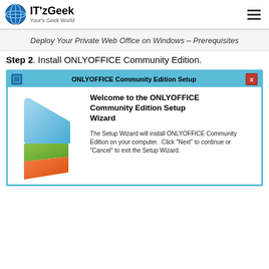IT'zGeek Your's Geek World
Deploy Your Private Web Office on Windows – Prerequisites
Step 2. Install ONLYOFFICE Community Edition.
[Figure (screenshot): ONLYOFFICE Community Edition Setup wizard window showing welcome screen with blue, green and orange layered shapes logo on the left, and welcome text on the right. Title bar reads 'ONLYOFFICE Community Edition Setup'. Body text: 'Welcome to the ONLYOFFICE Community Edition Setup Wizard'. Below: 'The Setup Wizard will install ONLYOFFICE Community Edition on your computer. Click "Next" to continue or "Cancel" to exit the Setup Wizard.']